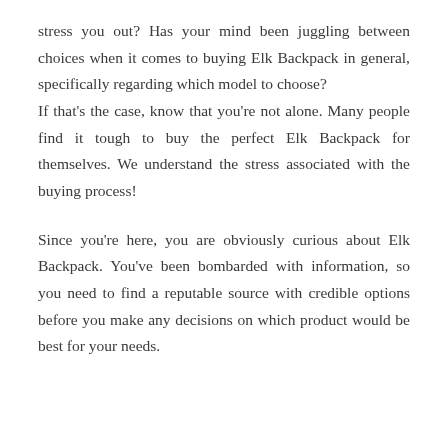stress you out? Has your mind been juggling between choices when it comes to buying Elk Backpack in general, specifically regarding which model to choose?
If that's the case, know that you're not alone. Many people find it tough to buy the perfect Elk Backpack for themselves. We understand the stress associated with the buying process!
Since you're here, you are obviously curious about Elk Backpack. You've been bombarded with information, so you need to find a reputable source with credible options before you make any decisions on which product would be best for your needs.